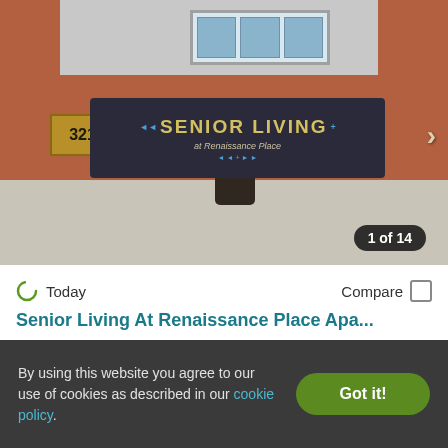[Figure (photo): Photo of Senior Living at Renaissance Place Apartments sign on brick wall with address number 3217, showing a decorative sign with 'SENIOR LIVING at Renaissance Place' text. Navigation arrow visible on right side. Badge shows '1 of 14'.]
Today
Compare
Senior Living At Renaissance Place Apa...
3217 Martin Luther King Drive, St. Louis, MO 63106...
Income Restricted
Verified
1 BED
By using this website you agree to our use of cookies as described in our cookie policy.